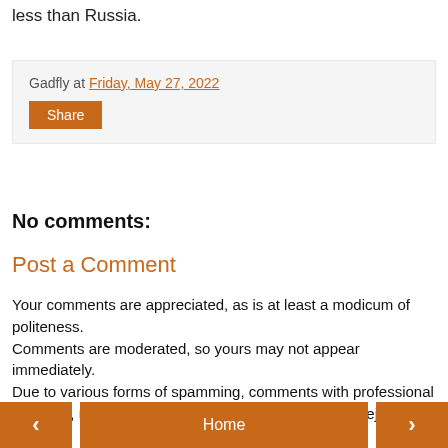less than Russia.
Gadfly at Friday, May 27, 2022
Share
No comments:
Post a Comment
Your comments are appreciated, as is at least a modicum of politeness.
Comments are moderated, so yours may not appear immediately.
Due to various forms of spamming, comments with professional websites, not your personal website or blog, may be rejected.
< Home >